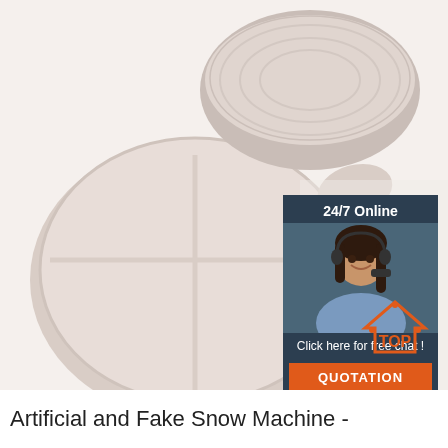[Figure (photo): Baby silicone dinnerware set: divided plate, bowl, spoon and fork with wooden handles, in soft pink/beige color on white background. Overlay in top-right: dark navy panel with '24/7 Online' text, a female customer service agent wearing headset, 'Click here for free chat!' text, and an orange 'QUOTATION' button. Bottom-right has an orange 'TOP' badge with dots.]
Artificial and Fake Snow Machine -